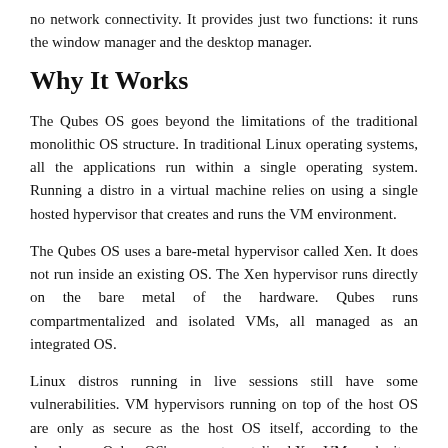no network connectivity. It provides just two functions: it runs the window manager and the desktop manager.
Why It Works
The Qubes OS goes beyond the limitations of the traditional monolithic OS structure. In traditional Linux operating systems, all the applications run within a single operating system. Running a distro in a virtual machine relies on using a single hosted hypervisor that creates and runs the VM environment.
The Qubes OS uses a bare-metal hypervisor called Xen. It does not run inside an existing OS. The Xen hypervisor runs directly on the bare metal of the hardware. Qubes runs compartmentalized and isolated VMs, all managed as an integrated OS.
Linux distros running in live sessions still have some vulnerabilities. VM hypervisors running on top of the host OS are only as secure as the host OS itself, according to the developers. Qubes OS's compartmentalized Xen VMs make it